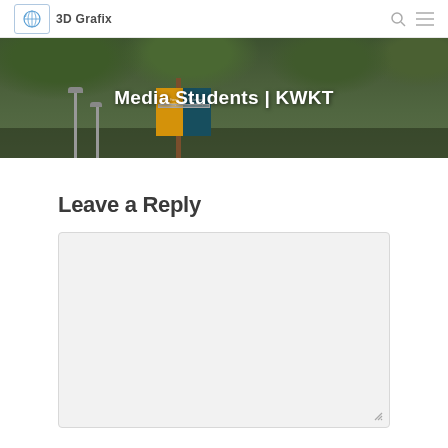3D Grafix
[Figure (photo): Campus scene with green trees and lamp posts, yellow and teal university banners on a pole. Text overlay reads 'Media Students | KWKT']
Leave a Reply
[Figure (screenshot): Empty comment textarea input box with light gray background and resize handle in bottom-right corner]